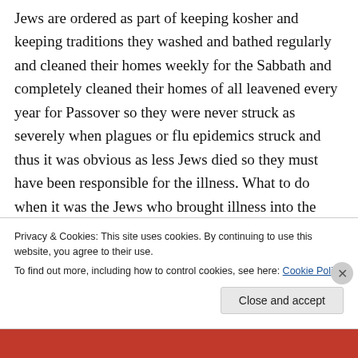Jews are ordered as part of keeping kosher and keeping traditions they washed and bathed regularly and cleaned their homes weekly for the Sabbath and completely cleaned their homes of all leavened every year for Passover so they were never struck as severely when plagues or flu epidemics struck and thus it was obvious as less Jews died so they must have been responsible for the illness. What to do when it was the Jews who brought illness into the population, you burn Jews at the stake and that would even everything out and just as many Jews would have died in the end.
Privacy & Cookies: This site uses cookies. By continuing to use this website, you agree to their use. To find out more, including how to control cookies, see here: Cookie Policy